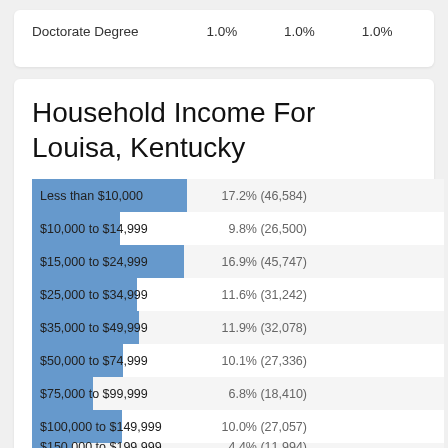|  |  |  |  |
| --- | --- | --- | --- |
| Doctorate Degree | 1.0% | 1.0% | 1.0% |
Household Income For Louisa, Kentucky
[Figure (bar-chart): Household Income For Louisa, Kentucky]